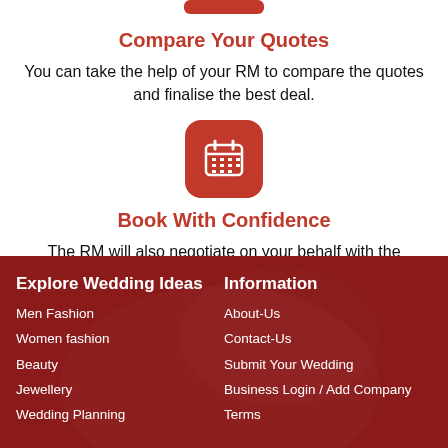[Figure (illustration): Red rounded rectangle button (partial, top of page)]
Compare Your Quotes
You can take the help of your RM to compare the quotes and finalise the best deal.
[Figure (illustration): Red rounded square icon with a white calendar/grid symbol]
Book With Confidence
The RM will also negotiate on your behalf with the vendor, so that you save "MONEY, TIME & ENERGY".
Explore Wedding Ideas
Men Fashion
Women fashion
Beauty
Jewellery
Wedding Planning

Information
About-Us
Contact-Us
Submit Your Wedding
Business Login / Add Company
Terms